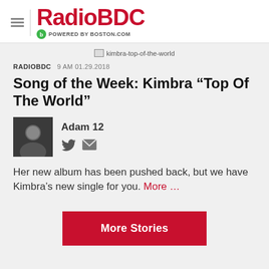RadioBDC POWERED BY BOSTON.COM
[Figure (photo): kimbra-top-of-the-world image placeholder]
RADIOBDC  9 AM 01.29.2018
Song of the Week: Kimbra “Top Of The World”
[Figure (photo): Author photo of Adam 12 with Twitter and email icons]
Her new album has been pushed back, but we have Kimbra’s new single for you. More …
More Stories